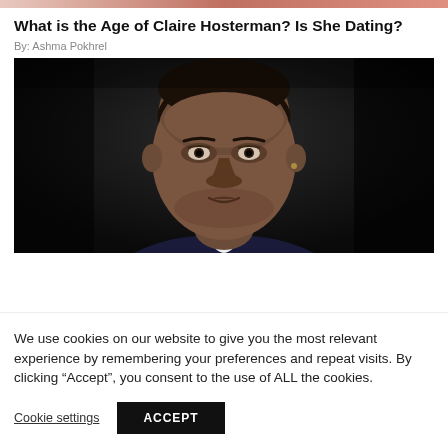[Figure (photo): Partial cropped image strip at top of page, appears to show people]
What is the Age of Claire Hosterman? Is She Dating?
By: Ashma Pokhrel
[Figure (photo): Portrait photo of a man (Chris Rock) in a dark background, wearing a suit, looking forward with a serious expression]
We use cookies on our website to give you the most relevant experience by remembering your preferences and repeat visits. By clicking “Accept”, you consent to the use of ALL the cookies.
Cookie settings
ACCEPT